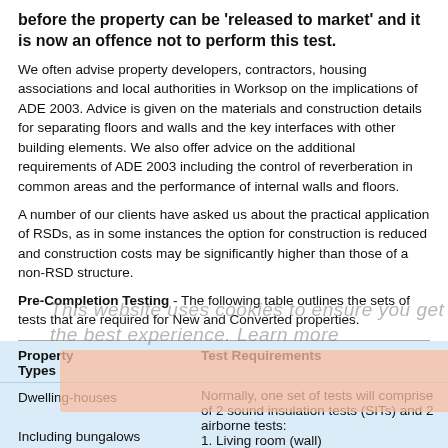before the property can be 'released to market' and it is now an offence not to perform this test.
We often advise property developers, contractors, housing associations and local authorities in Worksop on the implications of ADE 2003. Advice is given on the materials and construction details for separating floors and walls and the key interfaces with other building elements. We also offer advice on the additional requirements of ADE 2003 including the control of reverberation in common areas and the performance of internal walls and floors.
A number of our clients have asked us about the practical application of RSDs, as in some instances the option for construction is reduced and construction costs may be significantly higher than those of a non-RSD structure.
Pre-Completion Testing - The following table outlines the sets of tests that are required for New and Converted properties.
| Property Types | Test Requirements |
| --- | --- |
| Dwelling-houses
Including bungalows | Normally, one set of tests will comprise of 2 sound insulation tests (SITs) and 2 airborne tests:
1. Living room (wall)
2.Bedroom (wall) |
| Flats with separating | Normally, one set of tests should comprise of 4 individual SITs - 2 x airborne, 2 x impact: |